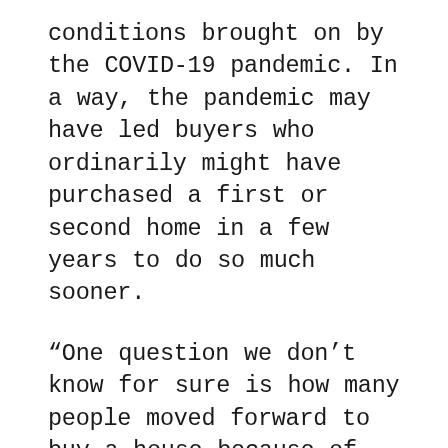conditions brought on by the COVID-19 pandemic. In a way, the pandemic may have led buyers who ordinarily might have purchased a first or second home in a few years to do so much sooner.
“One question we don’t know for sure is how many people moved forward to buy a house because of the stimulus and low interest rates that they would have bought this year or next year,” said Doug Duncan, chief economist at Fannie Mae.